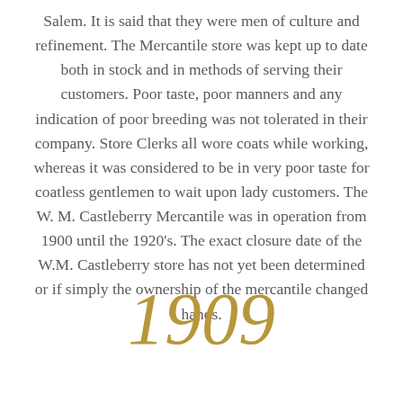Salem. It is said that they were men of culture and refinement. The Mercantile store was kept up to date both in stock and in methods of serving their customers. Poor taste, poor manners and any indication of poor breeding was not tolerated in their company. Store Clerks all wore coats while working, whereas it was considered to be in very poor taste for coatless gentlemen to wait upon lady customers. The W. M. Castleberry Mercantile was in operation from 1900 until the 1920's. The exact closure date of the W.M. Castleberry store has not yet been determined or if simply the ownership of the mercantile changed hands.
1909